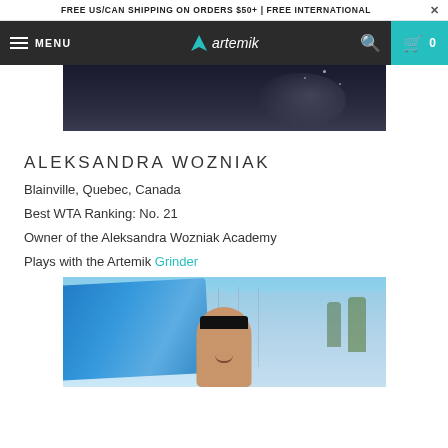FREE US/CAN SHIPPING ON ORDERS $50+ | FREE INTERNATIONAL
MENU  artemik  0
[Figure (photo): Partial photo of Aleksandra Wozniak, dark background with sparkly outfit, cropped to show upper body]
ALEKSANDRA WOZNIAK
Blainville, Quebec, Canada
Best WTA Ranking: No. 21
Owner of the Aleksandra Wozniak Academy
Plays with the Artemik Grinder
[Figure (photo): Photo of Aleksandra Wozniak outdoors on a tennis court, holding a blue tarp or windscreen, wearing a black visor and smiling]